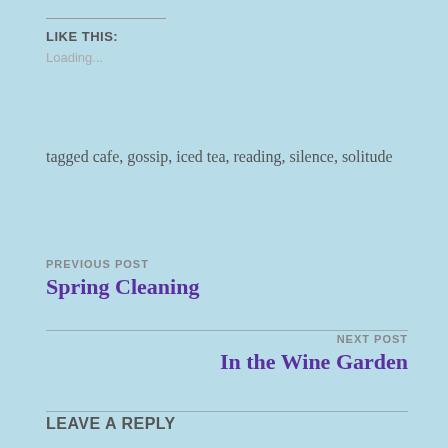LIKE THIS:
Loading...
tagged cafe, gossip, iced tea, reading, silence, solitude
PREVIOUS POST
Spring Cleaning
NEXT POST
In the Wine Garden
LEAVE A REPLY